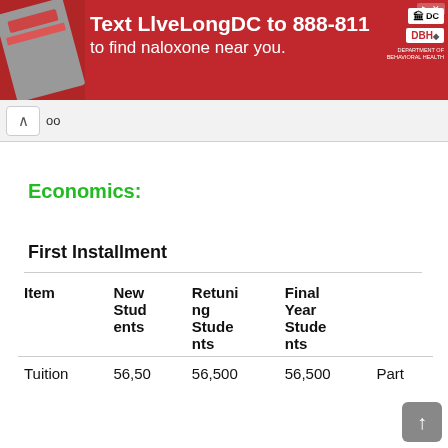[Figure (other): Red advertisement banner: Text LlveLongDC to 888-811 to find naloxone near you. DC Health logos on right, close button top right.]
Economics:
First Installment
| Item | New Students | Returning Students | Final Year Students |  |
| --- | --- | --- | --- | --- |
| Tuition | 56,50 | 56,500 | 56,500 | Part |